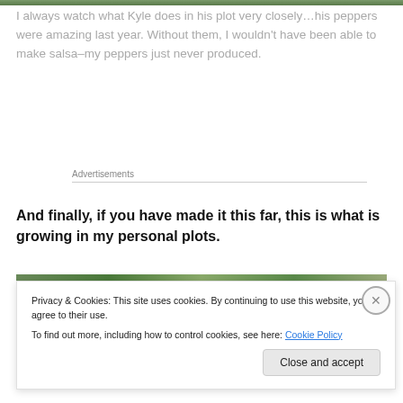[Figure (photo): Top strip of a garden photo, showing green foliage]
I always watch what Kyle does in his plot very closely…his peppers were amazing last year. Without them, I wouldn't have been able to make salsa–my peppers just never produced.
Advertisements
And finally, if you have made it this far, this is what is growing in my personal plots.
[Figure (photo): Partial garden photo strip showing green plants]
Privacy & Cookies: This site uses cookies. By continuing to use this website, you agree to their use.
To find out more, including how to control cookies, see here: Cookie Policy